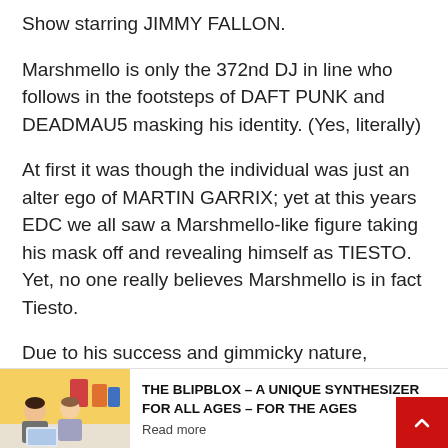Show starring JIMMY FALLON.
Marshmello is only the 372nd DJ in line who follows in the footsteps of DAFT PUNK and DEADMAU5 masking his identity. (Yes, literally)
At first it was though the individual was just an alter ego of MARTIN GARRIX; yet at this years EDC we all saw a Marshmello-like figure taking his mask off and revealing himself as TIESTO. Yet, no one really believes Marshmello is in fact Tiesto.
Due to his success and gimmicky nature,
[Figure (photo): Two children sitting and looking at something, colorful background]
THE BLIPBLOX – A UNIQUE SYNTHESIZER FOR ALL AGES – FOR THE AGES
Read more